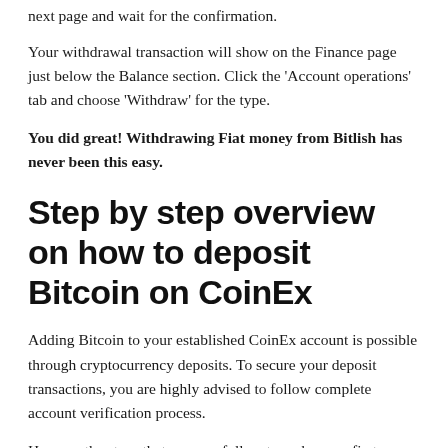next page and wait for the confirmation.
Your withdrawal transaction will show on the Finance page just below the Balance section. Click the 'Account operations' tab and choose 'Withdraw' for the type.
You did great! Withdrawing Fiat money from Bitlish has never been this easy.
Step by step overview on how to deposit Bitcoin on CoinEx
Adding Bitcoin to your established CoinEx account is possible through cryptocurrency deposits. To secure your deposit transactions, you are highly advised to follow complete account verification process.
Here are the steps that you can follow to make your first Bitcoin deposit on CoinEx.
To get started, access the log-in page of the exchange